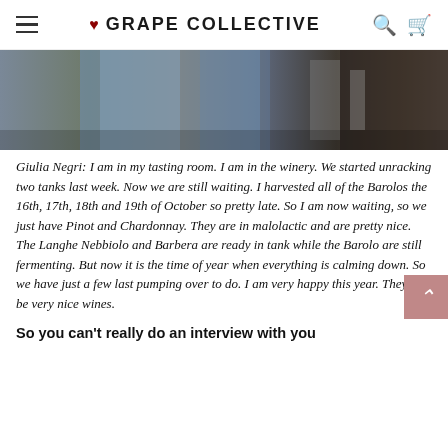GRAPE COLLECTIVE
[Figure (photo): Partial photo showing jeans-clad legs and winery equipment in the background]
Giulia Negri: I am in my tasting room. I am in the winery. We started unracking two tanks last week. Now we are still waiting. I harvested all of the Barolos the 16th, 17th, 18th and 19th of October so pretty late. So I am now waiting, so we just have Pinot and Chardonnay. They are in malolactic and are pretty nice. The Langhe Nebbiolo and Barbera are ready in tank while the Barolo are still fermenting. But now it is the time of year when everything is calming down. So we have just a few last pumping over to do. I am very happy this year. They will be very nice wines.
So you can't really do an interview with you